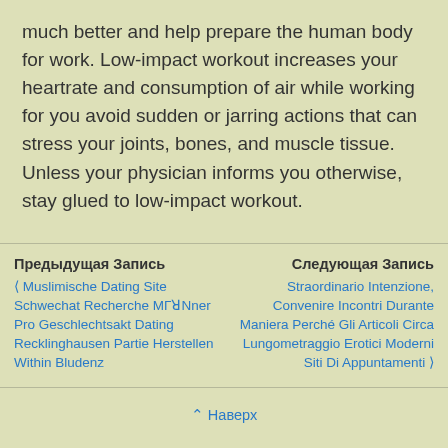much better and help prepare the human body for work. Low-impact workout increases your heartrate and consumption of air while working for you avoid sudden or jarring actions that can stress your joints, bones, and muscle tissue. Unless your physician informs you otherwise, stay glued to low-impact workout.
Предыдущая Запись | ❮ Muslimische Dating Site Schwechat Recherche МГꓤNner Pro Geschlechtsakt Dating Recklinghausen Partie Herstellen Within Bludenz
Следующая Запись | Straordinario Intenzione, Convenire Incontri Durante Maniera Perché Gli Articoli Circa Lungometraggio Erotici Moderni Siti Di Appuntamenti ❯
⌃ Наверх